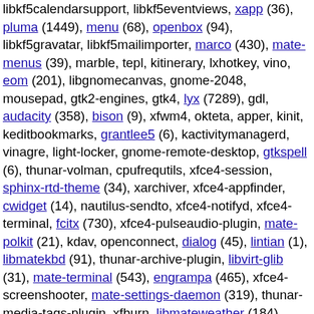libkf5calendarsupport, libkf5eventviews, xapp (36), pluma (1449), menu (68), openbox (94), libkf5gravatar, libkf5mailimporter, marco (430), mate-menus (39), marble, tepl, kitinerary, lxhotkey, vino, eom (201), libgnomecanvas, gnome-2048, mousepad, gtk2-engines, gtk4, lyx (7289), gdl, audacity (358), bison (9), xfwm4, okteta, apper, kinit, keditbookmarks, grantlee5 (6), kactivitymanagerd, vinagre, light-locker, gnome-remote-desktop, gtkspell (6), thunar-volman, cpufrequtils, xfce4-session, sphinx-rtd-theme (34), xarchiver, xfce4-appfinder, cwidget (14), nautilus-sendto, xfce4-notifyd, xfce4-terminal, fcitx (730), xfce4-pulseaudio-plugin, mate-polkit (21), kdav, openconnect, dialog (45), lintian (1), libmatekbd (91), thunar-archive-plugin, libvirt-glib (31), mate-terminal (543), engrampa (465), xfce4-screenshooter, mate-settings-daemon (319), thunar-media-tags-plugin, xfburn, libmateweather (184), ristretto, xfce4-taskmanager, gambas3, libguestfs (963), xfce4-sensors-plugin, xfce4-battery-plugin, xfce4-datetime-plugin, xfce4-xkb-plugin, xfce4-systemload-plugin, xfce4-cpugraph-plugin, xfce4-